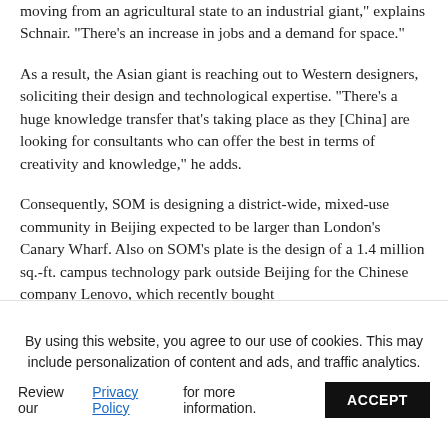moving from an agricultural state to an industrial giant," explains Schnair. "There's an increase in jobs and a demand for space."
As a result, the Asian giant is reaching out to Western designers, soliciting their design and technological expertise. "There's a huge knowledge transfer that's taking place as they [China] are looking for consultants who can offer the best in terms of creativity and knowledge," he adds.
Consequently, SOM is designing a district-wide, mixed-use community in Beijing expected to be larger than London's Canary Wharf. Also on SOM's plate is the design of a 1.4 million sq.-ft. campus technology park outside Beijing for the Chinese company Lenovo, which recently bought
By using this website, you agree to our use of cookies. This may include personalization of content and ads, and traffic analytics.
Review our Privacy Policy for more information. ACCEPT